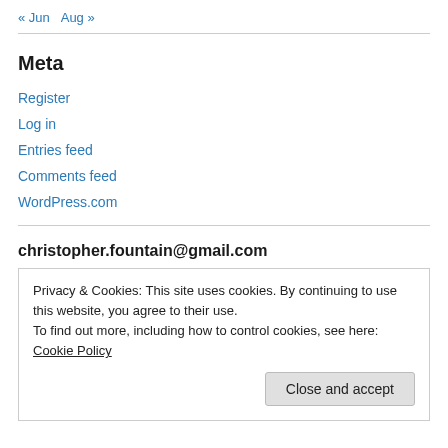« Jun   Aug »
Meta
Register
Log in
Entries feed
Comments feed
WordPress.com
christopher.fountain@gmail.com
Privacy & Cookies: This site uses cookies. By continuing to use this website, you agree to their use.
To find out more, including how to control cookies, see here: Cookie Policy
Close and accept